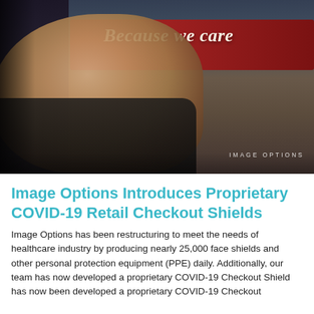[Figure (photo): A smiling female retail worker in a black uniform holding papers at a checkout counter inside a store. Behind her is a red banner reading 'Because we care' in bold italic script. The background shows store shelves and products. An 'IMAGE OPTIONS' watermark appears in the lower right of the photo.]
Image Options Introduces Proprietary COVID-19 Retail Checkout Shields
Image Options has been restructuring to meet the needs of healthcare industry by producing nearly 25,000 face shields and other personal protection equipment (PPE) daily. Additionally, our team has now developed a proprietary COVID-19 Checkout Shield has now been...